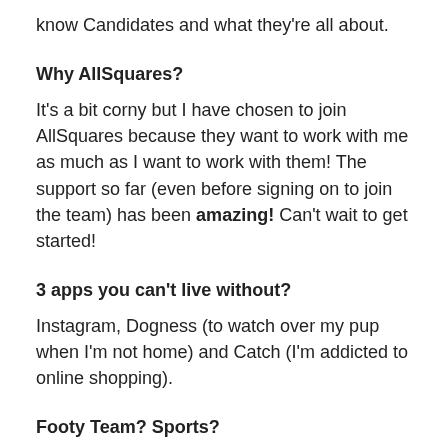know Candidates and what they're all about.
Why AllSquares?
It's a bit corny but I have chosen to join AllSquares because they want to work with me as much as I want to work with them! The support so far (even before signing on to join the team) has been amazing! Can't wait to get started!
3 apps you can't live without?
Instagram, Dogness (to watch over my pup when I'm not home) and Catch (I'm addicted to online shopping).
Footy Team? Sports?
Tennis and footy (AFL)! Go Federer and go the Blues!